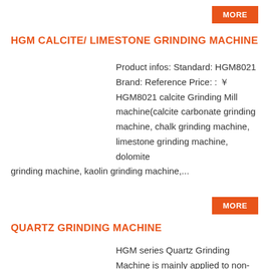HGM CALCITE/ LIMESTONE GRINDING MACHINE
Product infos: Standard: HGM8021 Brand: Reference Price: : ￥ HGM8021 calcite Grinding Mill machine(calcite carbonate grinding machine, chalk grinding machine, limestone grinding machine, dolomite grinding machine, kaolin grinding machine,...
QUARTZ GRINDING MACHINE
HGM series Quartz Grinding Machine is mainly applied to non-inflammable, non-explosive and brittle materials with Mohs hardness under six. Such as calcite, chalk, limestone, dolomite, kaolin, gypsum, etc,